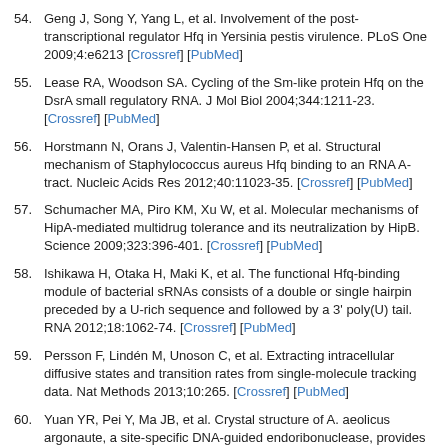54. Geng J, Song Y, Yang L, et al. Involvement of the post-transcriptional regulator Hfq in Yersinia pestis virulence. PLoS One 2009;4:e6213 [Crossref] [PubMed]
55. Lease RA, Woodson SA. Cycling of the Sm-like protein Hfq on the DsrA small regulatory RNA. J Mol Biol 2004;344:1211-23. [Crossref] [PubMed]
56. Horstmann N, Orans J, Valentin-Hansen P, et al. Structural mechanism of Staphylococcus aureus Hfq binding to an RNA A-tract. Nucleic Acids Res 2012;40:11023-35. [Crossref] [PubMed]
57. Schumacher MA, Piro KM, Xu W, et al. Molecular mechanisms of HipA-mediated multidrug tolerance and its neutralization by HipB. Science 2009;323:396-401. [Crossref] [PubMed]
58. Ishikawa H, Otaka H, Maki K, et al. The functional Hfq-binding module of bacterial sRNAs consists of a double or single hairpin preceded by a U-rich sequence and followed by a 3' poly(U) tail. RNA 2012;18:1062-74. [Crossref] [PubMed]
59. Persson F, Lindén M, Unoson C, et al. Extracting intracellular diffusive states and transition rates from single-molecule tracking data. Nat Methods 2013;10:265. [Crossref] [PubMed]
60. Yuan YR, Pei Y, Ma JB, et al. Crystal structure of A. aeolicus argonaute, a site-specific DNA-guided endoribonuclease, provides insights into RISC-mediated mRNA cleavage. Mol Cell 2005;19:405-19. [Crossref] [PubMed]
61. Rivas FV, Tolia NH, Song JJ, et al. Purified Argonaute2 and an siRNA form recombinant human RISC.